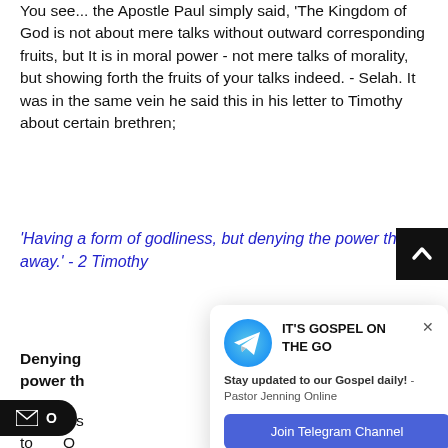You see... the Apostle Paul simply said, 'The Kingdom of God is not about mere talks without outward corresponding fruits, but It is in moral power - not mere talks of morality, but showing forth the fruits of your talks indeed. - Selah. It was in the same vein he said this in his letter to Timothy about certain brethren;
'Having a form of godliness, but denying the power thereof: from such turn away.' - 2 Timothy
[Figure (other): Black scroll-to-top button with upward chevron arrow]
Denying ... power th
[Figure (infographic): Telegram channel popup notification: 'IT'S GOSPEL ON THE GO' with Telegram icon, subtitle 'Stay updated to our Gospel daily! - Pastor Jenning Online', and a 'Join Telegram Channel' button]
He was s ... to ... O...
but their outward conduct does not align with